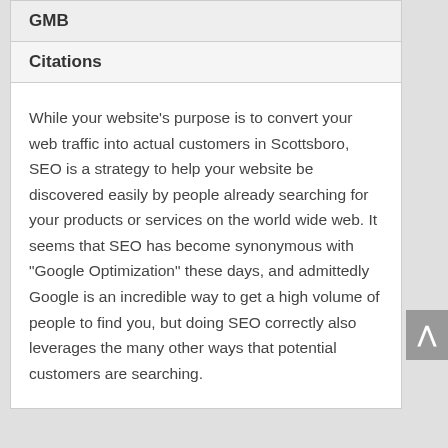GMB
Citations
While your website’s purpose is to convert your web traffic into actual customers in Scottsboro, SEO is a strategy to help your website be discovered easily by people already searching for your products or services on the world wide web. It seems that SEO has become synonymous with “Google Optimization” these days, and admittedly Google is an incredible way to get a high volume of people to find you, but doing SEO correctly also leverages the many other ways that potential customers are searching.